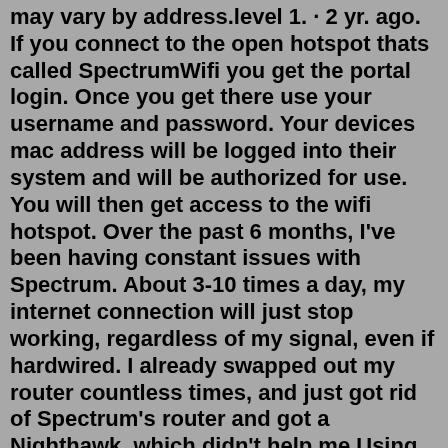may vary by address.level 1. · 2 yr. ago. If you connect to the open hotspot thats called SpectrumWifi you get the portal login. Once you get there use your username and password. Your devices mac address will be logged into their system and will be authorized for use. You will then get access to the wifi hotspot. Over the past 6 months, I've been having constant issues with Spectrum. About 3-10 times a day, my internet connection will just stop working, regardless of my signal, even if hardwired. I already swapped out my router countless times, and just got rid of Spectrum's router and got a Nighthawk, which didn't help me.Using Amazon Redshift Spectrum, you can efficiently query and retrieve structured and semistructured data from files in Amazon S3 without having to load the data into Amazon Redshift tables. Redshift Spectrum queries employ massive parallelism to run very fast against large datasets.Submit your disconnect request online via this Web Form which will provide an acknowledgement of receipt of your request upon